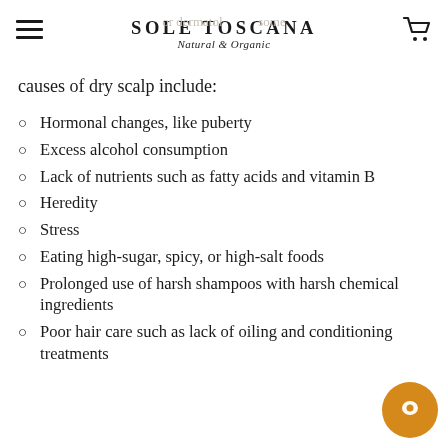SOLE TOSCANA Natural & Organic
causes of dry scalp include:
Hormonal changes, like puberty
Excess alcohol consumption
Lack of nutrients such as fatty acids and vitamin B
Heredity
Stress
Eating high-sugar, spicy, or high-salt foods
Prolonged use of harsh shampoos with harsh chemical ingredients
Poor hair care such as lack of oiling and conditioning treatments